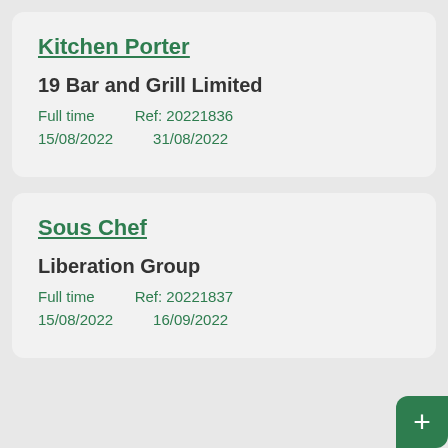Kitchen Porter
19 Bar and Grill Limited
Full time    Ref: 20221836
15/08/2022    31/08/2022
Sous Chef
Liberation Group
Full time    Ref: 20221837
15/08/2022    16/09/2022